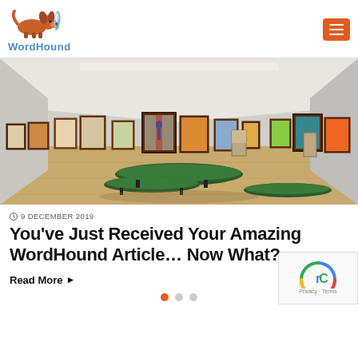WordHound
[Figure (photo): Interior of an art gallery with colorful paintings on white walls and curved green bench seating on a wooden floor.]
9 DECEMBER 2019
You've Just Received Your Amazing WordHound Article... Now What?
Read More ▶